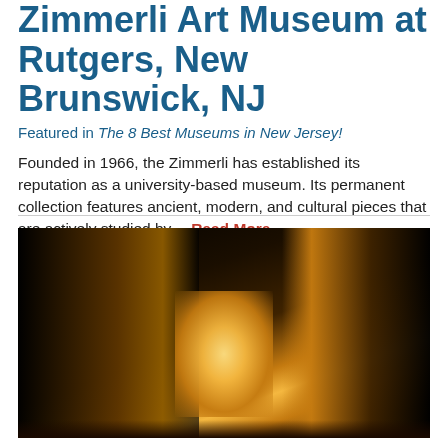Zimmerli Art Museum at Rutgers, New Brunswick, NJ
Featured in The 8 Best Museums in New Jersey!
Founded in 1966, the Zimmerli has established its reputation as a university-based museum. Its permanent collection features ancient, modern, and cultural pieces that are actively studied by… Read More
[Figure (photo): Dark theatrical stage photo with golden curtains partially open, revealing a glowing light source from behind, with a dark floor in the foreground]